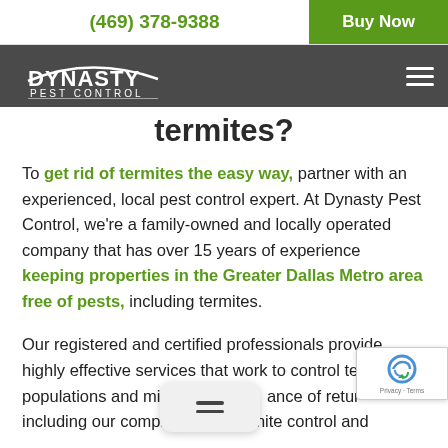(469) 378-9388  Buy Now
[Figure (logo): Dynasty Pest Control logo in white on dark gray navigation bar]
termites?
To get rid of termites the easy way, partner with an experienced, local pest control expert. At Dynasty Pest Control, we're a family-owned and locally operated company that has over 15 years of experience keeping properties in the Greater Dallas Metro area free of pests, including termites.
Our registered and certified professionals provide highly effective services that work to control termite populations and minimize the chance of return, including our comprehensive termite control and...